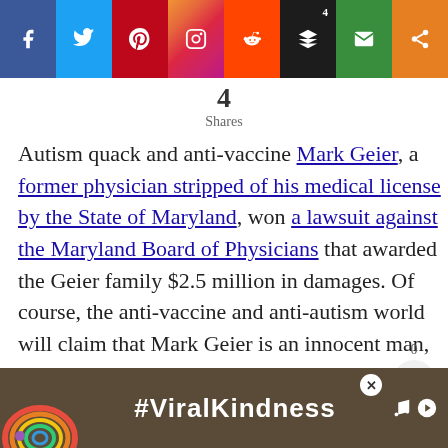[Figure (infographic): Social media share buttons bar: Facebook (blue), Twitter (light blue), Pinterest (red), Instagram (gradient), Reddit (orange-red), Buffer/layers (black, count badge '4'), Email (green), Share (orange)]
4 Shares
Autism quack and anti-vaccine Mark Geier, a former physician stripped of his medical license by the State of Maryland, won a lawsuit against the Maryland Board of Physicians that awarded the Geier family $2.5 million in damages. Of course, the anti-vaccine and anti-autism world will claim that Mark Geier is an innocent man, and
[Figure (infographic): Floating share widget showing count '0' and share icon button]
[Figure (infographic): Advertisement banner at bottom: rainbow illustration on left, '#ViralKindness' text in white, close button X, media icons on right, on dark brownish background]